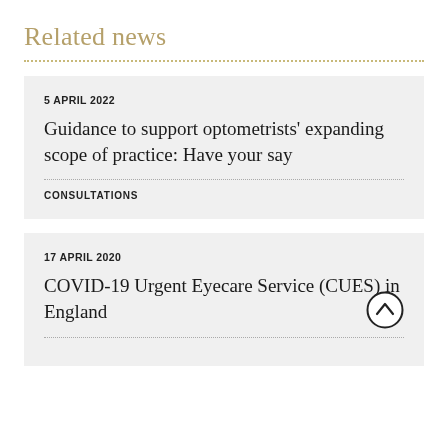Related news
5 APRIL 2022
Guidance to support optometrists' expanding scope of practice: Have your say
CONSULTATIONS
17 APRIL 2020
COVID-19 Urgent Eyecare Service (CUES) in England